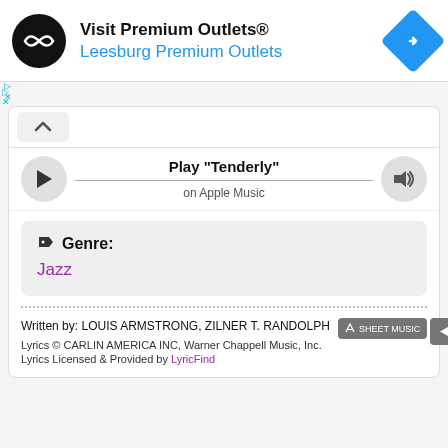[Figure (screenshot): Advertisement banner for Visit Premium Outlets® - Leesburg Premium Outlets with logo and navigation icon]
[Figure (screenshot): Apple Music player widget with play button, track title 'Tenderly', progress line, and volume button]
Genre:
Jazz
Written by: LOUIS ARMSTRONG, ZILNER T. RANDOLPH
Lyrics © CARLIN AMERICA INC, Warner Chappell Music, Inc.
Lyrics Licensed & Provided by LyricFind